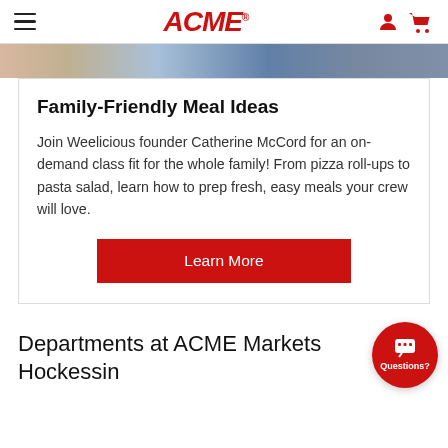ACME
[Figure (photo): Partial image strip showing food/lifestyle photography at the top of the card]
Family-Friendly Meal Ideas
Join Weelicious founder Catherine McCord for an on-demand class fit for the whole family! From pizza roll-ups to pasta salad, learn how to prep fresh, easy meals your crew will love.
Learn More
Departments at ACME Markets Hockessin